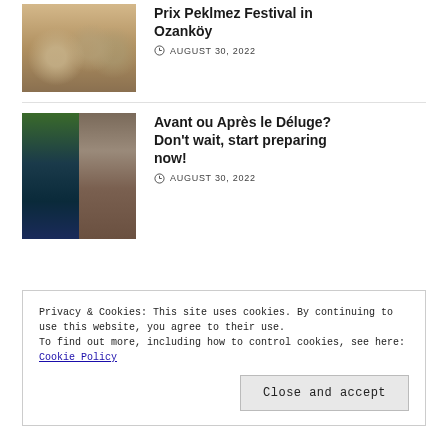[Figure (photo): Thumbnail photo of people at an outdoor festival/market scene]
Prix Peklmez Festival in Ozanköy
AUGUST 30, 2022
[Figure (photo): Split thumbnail photo showing flood/debris scene outdoors]
Avant ou Après le Déluge? Don't wait, start preparing now!
AUGUST 30, 2022
Privacy & Cookies: This site uses cookies. By continuing to use this website, you agree to their use.
To find out more, including how to control cookies, see here: Cookie Policy